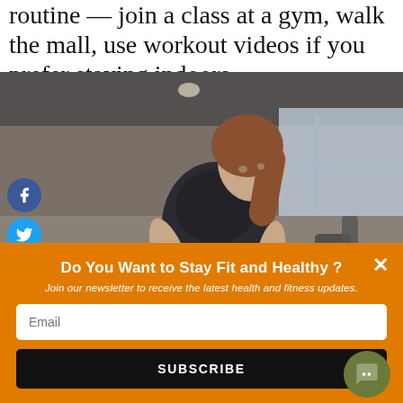routine — join a class at a gym, walk the mall, use workout videos if you prefer staying indoors.
[Figure (photo): Woman in athletic wear (sports bra and leggings) in a gym, leaning forward over exercise equipment, with gym machines visible in the background.]
Do You Want to Stay Fit and Healthy?
Join our newsletter to receive the latest health and fitness updates.
Email
SUBSCRIBE